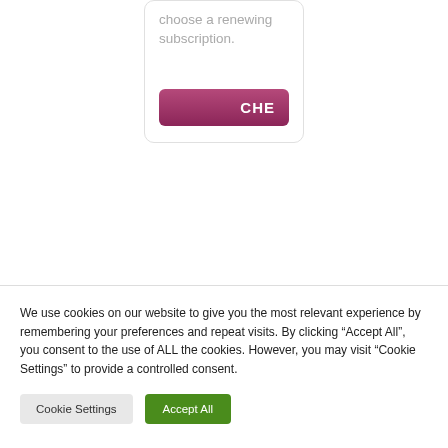choose a renewing subscription.
[Figure (screenshot): Partially visible purple/magenta rounded button with white bold text 'CHE' (truncated)]
Tweets by @AutismEye
We use cookies on our website to give you the most relevant experience by remembering your preferences and repeat visits. By clicking "Accept All", you consent to the use of ALL the cookies. However, you may visit "Cookie Settings" to provide a controlled consent.
Cookie Settings
Accept All